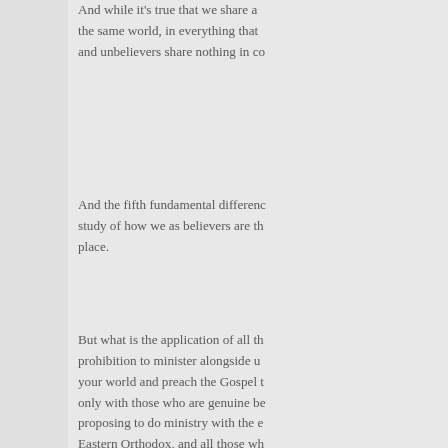And while it's true that we share a the same world, in everything that and unbelievers share nothing in co
And the fifth fundamental differenc study of how we as believers are th place.
But what is the application of all th prohibition to minister alongside u your world and preach the Gospel t only with those who are genuine be proposing to do ministry with the e Eastern Orthodox, and all those wh